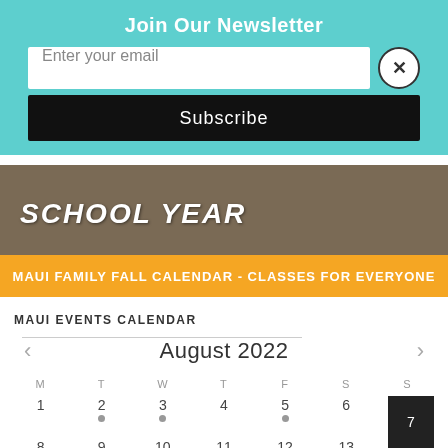Join Our Newsletter
Enter your email
Subscribe
[Figure (photo): Partial view of a child in a teal/mint colored outfit, outdoor background, with bold white italic text reading 'SCHOOL YEAR']
MAUI FAMILY FALL CALENDAR - CLASSES FOR EVERYONE
MAUI EVENTS CALENDAR
August 2022
| M | T | W | T | F | S | S |
| --- | --- | --- | --- | --- | --- | --- |
| 1 | 2 | 3 | 4 | 5 | 6 | 7 |
| 8 | 9 | 10 | 11 | 12 | 13 | 14 |